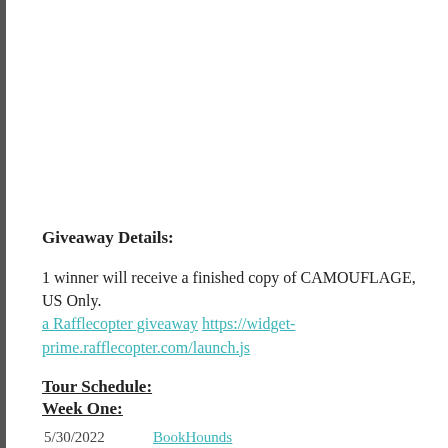Giveaway Details:
1 winner will receive a finished copy of CAMOUFLAGE, US Only.
a Rafflecopter giveaway https://widget-prime.rafflecopter.com/launch.js
Tour Schedule:
Week One:
| Date | Site |
| --- | --- |
| 5/30/2022 | BookHounds |
| 5/31/2022 | Sadie's Spotlight |